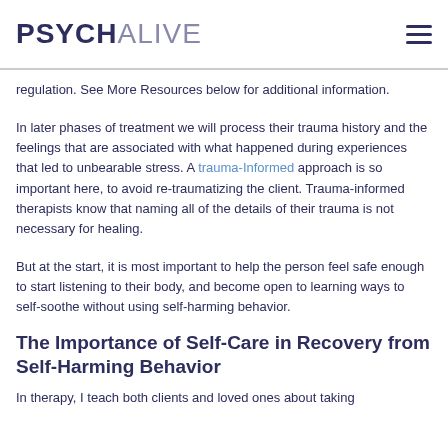PSYCHALIVE
regulation. See More Resources below for additional information.
In later phases of treatment we will process their trauma history and the feelings that are associated with what happened during experiences that led to unbearable stress. A trauma-Informed approach is so important here, to avoid re-traumatizing the client. Trauma-informed therapists know that naming all of the details of their trauma is not necessary for healing.
But at the start, it is most important to help the person feel safe enough to start listening to their body, and become open to learning ways to self-soothe without using self-harming behavior.
The Importance of Self-Care in Recovery from Self-Harming Behavior
In therapy, I teach both clients and loved ones about taking